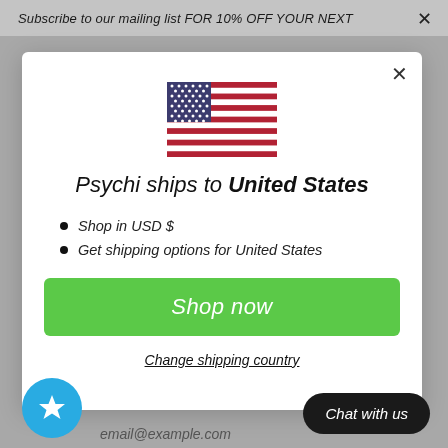Subscribe to our mailing list FOR 10% OFF YOUR NEXT
[Figure (screenshot): Modal dialog showing US flag, shipping info for United States, shop now button, and change shipping country link]
Psychi ships to United States
Shop in USD $
Get shipping options for United States
Shop now
Change shipping country
Chat with us
email@example.com